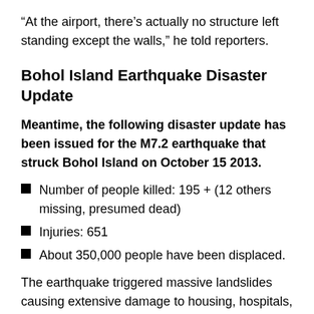“At the airport, there’s actually no structure left standing except the walls,” he told reporters.
Bohol Island Earthquake Disaster Update
Meantime, the following disaster update has been issued for the M7.2 earthquake that struck Bohol Island on October 15 2013.
Number of people killed:  195  + (12 others missing, presumed dead)
Injuries: 651
About 350,000 people have been displaced.
The earthquake triggered massive landslides causing extensive damage to housing, hospitals, schools, infrastructure and utilities, with more than 53,300 houses